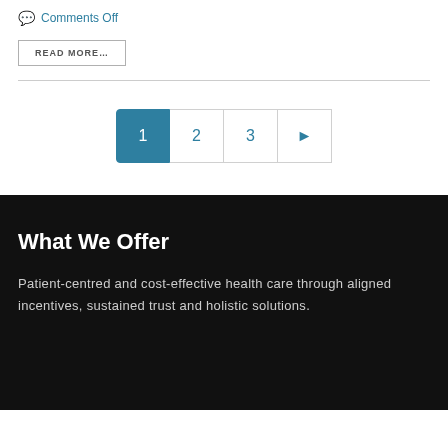Comments Off
READ MORE...
1  2  3  ▶
What We Offer
Patient-centred and cost-effective health care through aligned incentives, sustained trust and holistic solutions.